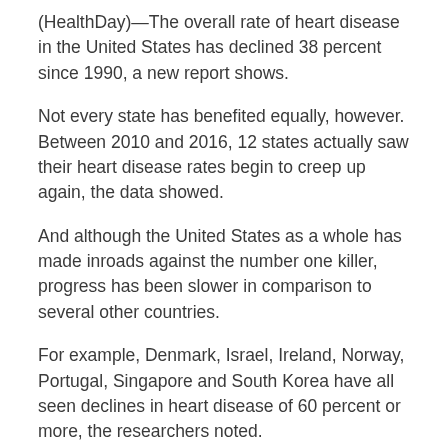(HealthDay)—The overall rate of heart disease in the United States has declined 38 percent since 1990, a new report shows.
Not every state has benefited equally, however. Between 2010 and 2016, 12 states actually saw their heart disease rates begin to creep up again, the data showed.
And although the United States as a whole has made inroads against the number one killer, progress has been slower in comparison to several other countries.
For example, Denmark, Israel, Ireland, Norway, Portugal, Singapore and South Korea have all seen declines in heart disease of 60 percent or more, the researchers noted.
The U.S. is “seeing a much slower decline in health loss from cardiovascular diseases than other developing countries,” said researcher Ali Mokdad, a professor of global health at the University of Washington’s Institute for Health Metrics and Evaluation, in Seattle.